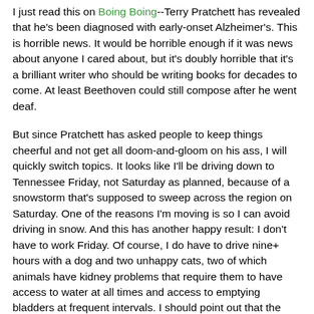I just read this on Boing Boing--Terry Pratchett has revealed that he's been diagnosed with early-onset Alzheimer's. This is horrible news. It would be horrible enough if it was news about anyone I cared about, but it's doubly horrible that it's a brilliant writer who should be writing books for decades to come. At least Beethoven could still compose after he went deaf.
But since Pratchett has asked people to keep things cheerful and not get all doom-and-gloom on his ass, I will quickly switch topics. It looks like I'll be driving down to Tennessee Friday, not Saturday as planned, because of a snowstorm that's supposed to sweep across the region on Saturday. One of the reasons I'm moving is so I can avoid driving in snow. And this has another happy result: I don't have to work Friday. Of course, I do have to drive nine+ hours with a dog and two unhappy cats, two of which animals have kidney problems that require them to have access to water at all times and access to emptying bladders at frequent intervals. I should point out that the dog is a Newfoundland and the car is a Yaris hatchback. Oh yes, and I have one box that absolutely must be stuffed into the (wee) hatchback, along